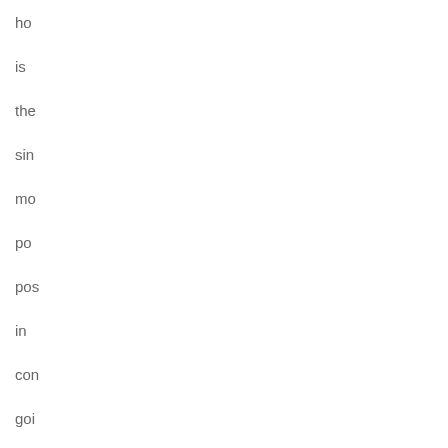ho
is
the
sin
mo
po
pos
in
con
goi
to
a
sen
sea
is
a
MA
ste
dow
I
LA
OF
TH
FR